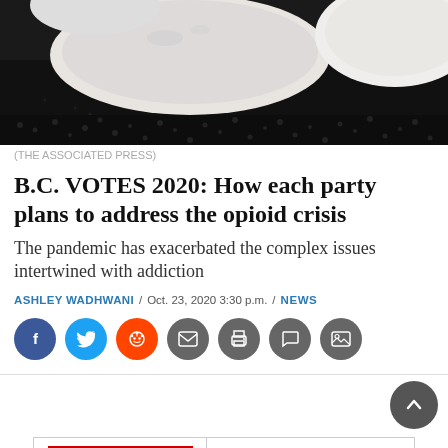[Figure (photo): Close-up photo of white round pills on a dark background]
(THE ASSOCIATED PRESS)
B.C. VOTES 2020: How each party plans to address the opioid crisis
The pandemic has exacerbated the complex issues intertwined with addiction
ASHLEY WADHWANI / Oct. 23, 2020 3:30 p.m. / NEWS
[Figure (infographic): Social media share buttons: Facebook, Twitter, Reddit, Email, Print, Comment, Image]
[Figure (infographic): Advertisement banner for Big O Tires with text: All Government precautions are being taken to keep our customers, staff & shop safe.]